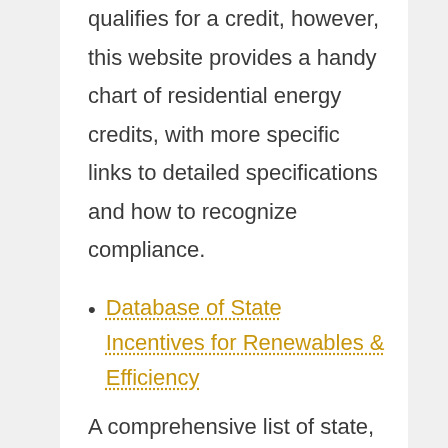qualifies for a credit, however, this website provides a handy chart of residential energy credits, with more specific links to detailed specifications and how to recognize compliance.
Database of State Incentives for Renewables & Efficiency
A comprehensive list of state, local, and utility